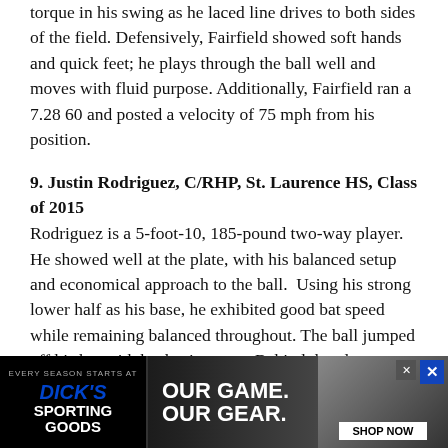torque in his swing as he laced line drives to both sides of the field. Defensively, Fairfield showed soft hands and quick feet; he plays through the ball well and moves with fluid purpose. Additionally, Fairfield ran a 7.28 60 and posted a velocity of 75 mph from his position.
9. Justin Rodriguez, C/RHP, St. Laurence HS, Class of 2015
Rodriguez is a 5-foot-10, 185-pound two-way player. He showed well at the plate, with his balanced setup and economical approach to the ball.  Using his strong lower half as his base, he exhibited good bat speed while remaining balanced throughout. The ball jumped off his bat with backspin carry.  Behind the plate, Rodriguez had a best pop time of 2.13 and was clocked at 75 mph from the crouch.  On the mound, Rodriguez throws three pitches: a 77-78 mph fastball, a brea[king ball and a] chan[geup...]
[Figure (photo): Advertisement banner for Dick's Sporting Goods with text 'Our Game. Our Gear.' and 'Shop Now' button, featuring a baseball player photo.]